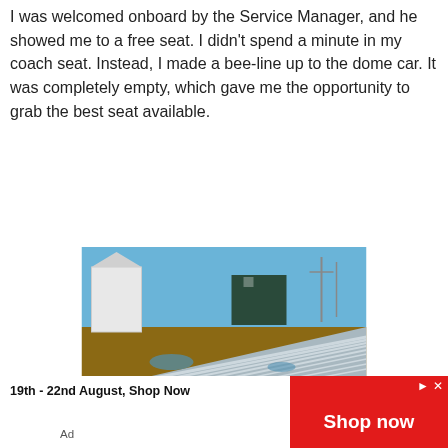I was welcomed onboard by the Service Manager, and he showed me to a free seat. I didn't spend a minute in my coach seat. Instead, I made a bee-line up to the dome car. It was completely empty, which gave me the opportunity to grab the best seat available.
[Figure (photo): Aerial/elevated view from the top of a train looking forward along corrugated metal dome car roof. Industrial buildings and blue sky visible in the background.]
VIA No. 2 departing Melville
At 6:40, the two F40PH-3 locomotives rumbled to life, and with a jolt, the train started rolling forward. The locomotives hustled the long train out of the yard and onto the mainline. The wind was behind the train and with 6,000 horses on the head-end, we were doing good track speed in no time flat.
19th - 22nd August, Shop Now
Ad